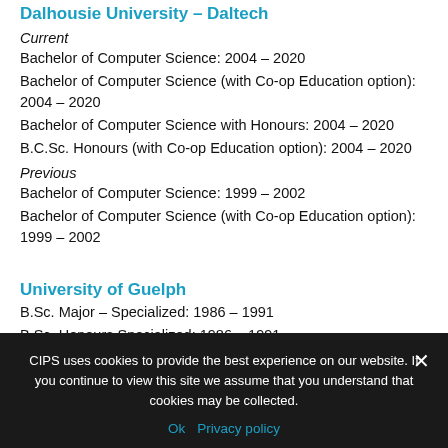Dalhousie University – Daltech
Current
Bachelor of Computer Science: 2004 – 2020
Bachelor of Computer Science (with Co-op Education option): 2004 – 2020
Bachelor of Computer Science with Honours: 2004 – 2020
B.C.Sc. Honours (with Co-op Education option): 2004 – 2020
Previous
Bachelor of Computer Science: 1999 – 2002
Bachelor of Computer Science (with Co-op Education option): 1999 – 2002
University of Guelph
B.Sc. Major – Specialized: 1986 – 1991
B.Sc. Honours Specialized: 1986 – 1991
B.Sc. Honours – Major with Minor in Bus. Administration:
CIPS uses cookies to provide the best experience on our website. If you continue to view this site we assume that you understand that cookies may be collected.
Ok   Privacy policy